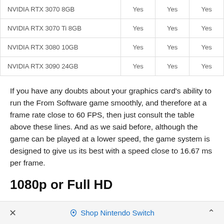| NVIDIA RTX 3070 8GB | Yes | Yes | Yes |
| NVIDIA RTX 3070 Ti 8GB | Yes | Yes | Yes |
| NVIDIA RTX 3080 10GB | Yes | Yes | Yes |
| NVIDIA RTX 3090 24GB | Yes | Yes | Yes |
If you have any doubts about your graphics card's ability to run the From Software game smoothly, and therefore at a frame rate close to 60 FPS, then just consult the table above these lines. And as we said before, although the game can be played at a lower speed, the game system is designed to give us its best with a speed close to 16.67 ms per frame.
1080p or Full HD
× Shop Nintendo Switch ^